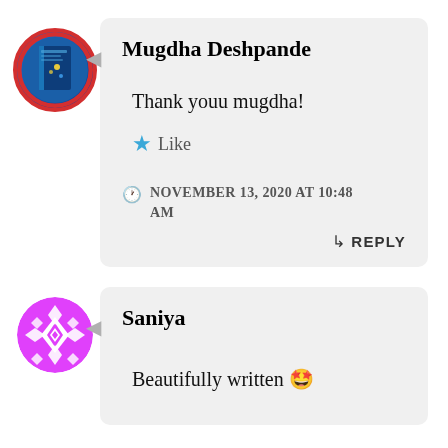[Figure (photo): Circular avatar with red border showing a book cover with blue background]
Mugdha Deshpande
Thank youu mugdha!
★ Like
NOVEMBER 13, 2020 AT 10:48 AM
↳ REPLY
[Figure (illustration): Circular avatar with geometric purple and white diamond pattern]
Saniya
Beautifully written 🤩